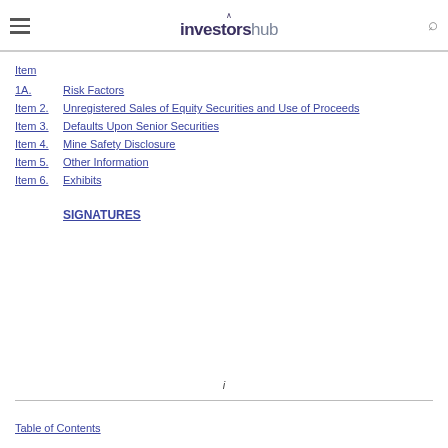investorsHub
Item
1A.  Risk Factors
Item 2.  Unregistered Sales of Equity Securities and Use of Proceeds
Item 3.  Defaults Upon Senior Securities
Item 4.  Mine Safety Disclosure
Item 5.  Other Information
Item 6.  Exhibits
SIGNATURES
i
Table of Contents